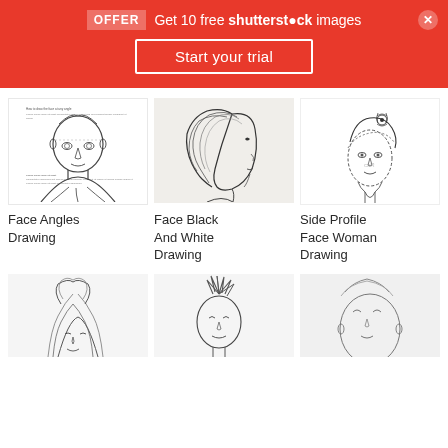[Figure (screenshot): Shutterstock promotional banner: OFFER - Get 10 free shutterstock images, Start your trial button, close X button]
[Figure (illustration): Face Angles Drawing - sketch of a front-facing head with guidelines, hair and shoulders]
[Figure (illustration): Face Black And White Drawing - side profile sketch of a woman with flowing hair]
[Figure (illustration): Side Profile Face Woman Drawing - frontal cartoon drawing of a woman with floral headband]
Face Angles Drawing
Face Black And White Drawing
Side Profile Face Woman Drawing
[Figure (illustration): Bottom left: sketch of a woman's face with flowing hair]
[Figure (illustration): Bottom center: sketch of a person with spiky hair]
[Figure (illustration): Bottom right: partial sketch of a face]